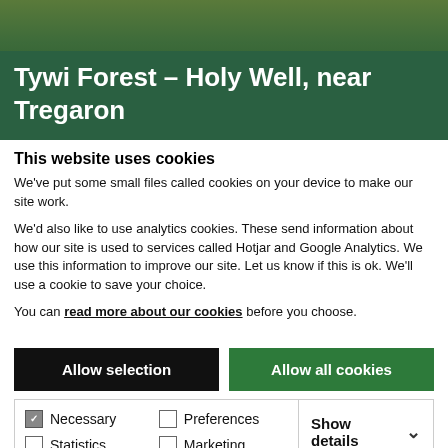[Figure (photo): Hero image with forest/greenery background and dark green overlay containing the page title]
Tywi Forest – Holy Well, near Tregaron
This website uses cookies
We've put some small files called cookies on your device to make our site work.
We'd also like to use analytics cookies. These send information about how our site is used to services called Hotjar and Google Analytics. We use this information to improve our site. Let us know if this is ok. We'll use a cookie to save your choice.
You can read more about our cookies before you choose.
Allow selection
Allow all cookies
Necessary | Preferences | Statistics | Marketing | Show details